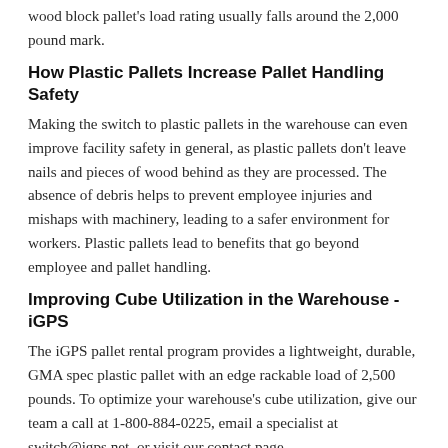wood block pallet's load rating usually falls around the 2,000 pound mark.
How Plastic Pallets Increase Pallet Handling Safety
Making the switch to plastic pallets in the warehouse can even improve facility safety in general, as plastic pallets don't leave nails and pieces of wood behind as they are processed. The absence of debris helps to prevent employee injuries and mishaps with machinery, leading to a safer environment for workers. Plastic pallets lead to benefits that go beyond employee and pallet handling.
Improving Cube Utilization in the Warehouse - iGPS
The iGPS pallet rental program provides a lightweight, durable, GMA spec plastic pallet with an edge rackable load of 2,500 pounds. To optimize your warehouse's cube utilization, give our team a call at 1-800-884-0225, email a specialist at switch@igps.net, or visit our contact page.